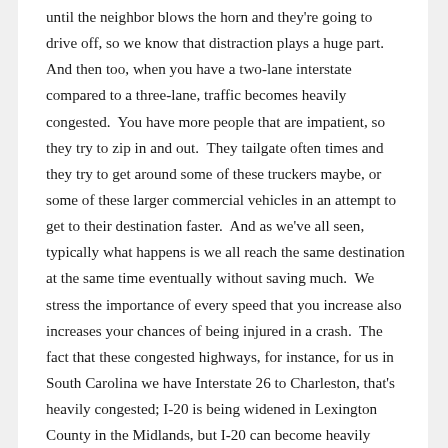until the neighbor blows the horn and they're going to drive off, so we know that distraction plays a huge part.  And then too, when you have a two-lane interstate compared to a three-lane, traffic becomes heavily congested.  You have more people that are impatient, so they try to zip in and out.  They tailgate often times and they try to get around some of these truckers maybe, or some of these larger commercial vehicles in an attempt to get to their destination faster.  And as we've all seen, typically what happens is we all reach the same destination at the same time eventually without saving much.  We stress the importance of every speed that you increase also increases your chances of being injured in a crash.  The fact that these congested highways, for instance, for us in South Carolina we have Interstate 26 to Charleston, that's heavily congested; I-20 is being widened in Lexington County in the Midlands, but I-20 can become heavily congested at times and we see people who become impatient who try to beat some of this traffic and there's nowhere for them to go, so we preach the message of packing your patience's, slowing down, limiting your